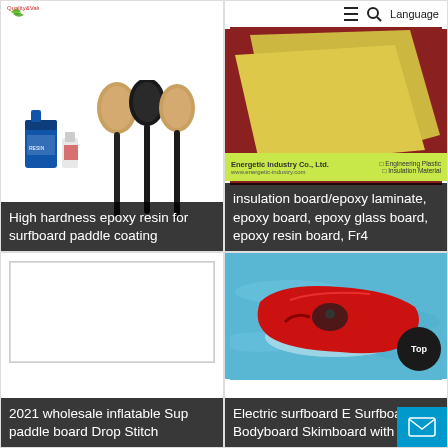[Figure (photo): Product card showing epoxy resin containers and three surfboard paddles (tan/wood, black, tan). Logo with green bird and 'QualityValue' text at top left.]
High hardness epoxy resin for surfboard paddle coating
[Figure (photo): Product card showing yellow/gold insulation board sheets on dark red/maroon background. Header with hamburger menu, magnifier icon, and Language text. Bottom bar: Energetic Industry Co., Ltd. logo with engineering plastics and insulation material text.]
insulation board/epoxy laminate, epoxy board, epoxy glass board, epoxy resin board, Fr4
[Figure (photo): Product card with white blank image area (no image loaded).]
2021 wholesale inflatable Sup paddle board Drop Stitch
[Figure (photo): Product card showing a red electric surfboard/bodyboard in blue water. 'Top' circular button overlay at bottom right.]
Electric surfboard E Surfboard Bodyboard Skimboard with